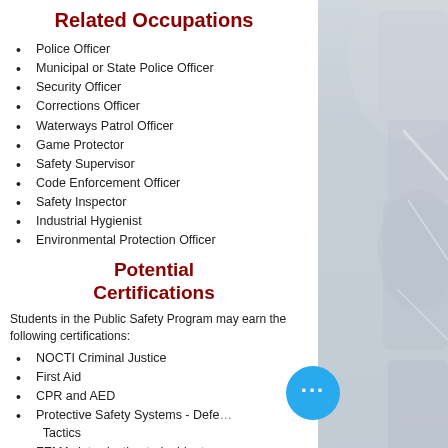Related Occupations
Police Officer
Municipal or State Police Officer
Security Officer
Corrections Officer
Waterways Patrol Officer
Game Protector
Safety Supervisor
Code Enforcement Officer
Safety Inspector
Industrial Hygienist
Environmental Protection Officer
Potential Certifications
Students in the Public Safety Program may earn the following certifications:
NOCTI Criminal Justice
First Aid
CPR and AED
Protective Safety Systems - Defensive Tactics
FEMA: Introduction to Incident